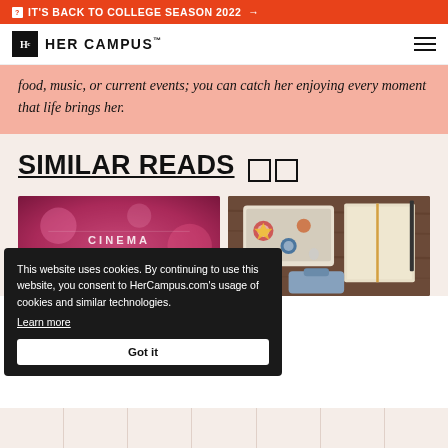IT'S BACK TO COLLEGE SEASON 2022 →
[Figure (logo): Her Campus logo with Hc box and wordmark, hamburger menu icon]
food, music, or current events; you can catch her enjoying every moment that life brings her.
SIMILAR READS
[Figure (photo): Cinema sign with pink/red neon lighting]
[Figure (photo): Laptop with stickers, open journal/notebook, and a backpack on a wooden surface]
This website uses cookies. By continuing to use this website, you consent to HerCampus.com's usage of cookies and similar technologies. Learn more
Got it